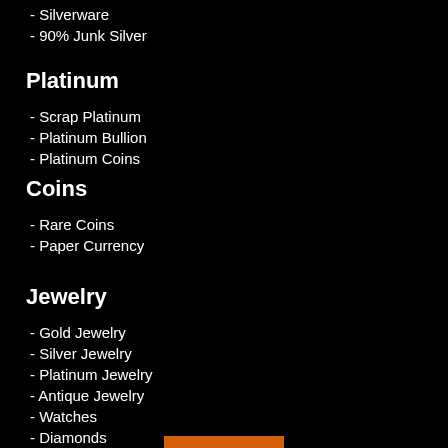- Silverware
- 90% Junk Silver
Platinum
- Scrap Platinum
- Platinum Bullion
- Platinum Coins
Coins
- Rare Coins
- Paper Currency
Jewelry
- Gold Jewelry
- Silver Jewelry
- Platinum Jewelry
- Antique Jewelry
- Watches
- Diamonds